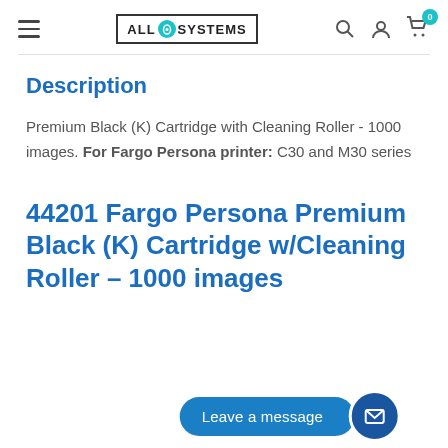[Figure (logo): All ID Systems logo with navigation bar including hamburger menu, search, account, and cart icons]
Description
Premium Black (K) Cartridge with Cleaning Roller - 1000 images. For Fargo Persona printer: C30 and M30 series
44201 Fargo Persona Premium Black (K) Cartridge w/Cleaning Roller - 1000 images